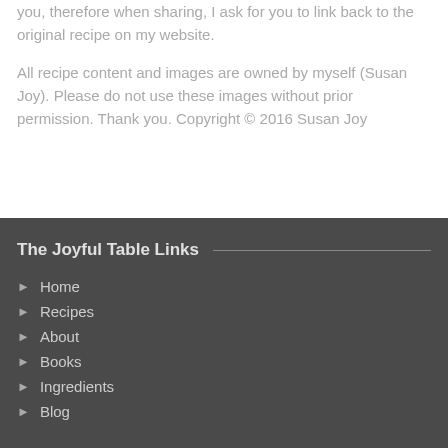you, therefore when sharing, I ask for you to link back to the original recipe on my website.

All recipe content and images are owned by myself (Susan Joy). Please do not use these images without prior permission. Thank you. Copyright © 2016 Susan Joy
The Joyful Table Links
Home
Recipes
About
Books
Ingredients
Blog